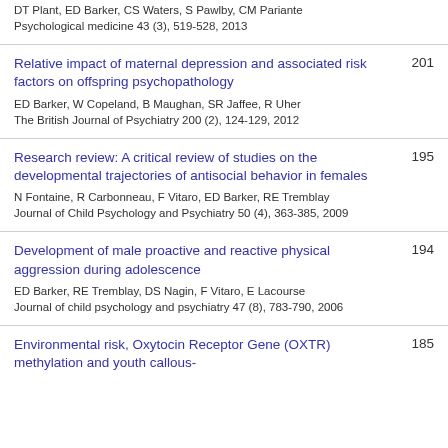DT Plant, ED Barker, CS Waters, S Pawlby, CM Pariante
Psychological medicine 43 (3), 519-528, 2013
Relative impact of maternal depression and associated risk factors on offspring psychopathology
ED Barker, W Copeland, B Maughan, SR Jaffee, R Uher
The British Journal of Psychiatry 200 (2), 124-129, 2012
201
Research review: A critical review of studies on the developmental trajectories of antisocial behavior in females
N Fontaine, R Carbonneau, F Vitaro, ED Barker, RE Tremblay
Journal of Child Psychology and Psychiatry 50 (4), 363-385, 2009
195
Development of male proactive and reactive physical aggression during adolescence
ED Barker, RE Tremblay, DS Nagin, F Vitaro, E Lacourse
Journal of child psychology and psychiatry 47 (8), 783-790, 2006
194
Environmental risk, Oxytocin Receptor Gene (OXTR) methylation and youth callous-
185